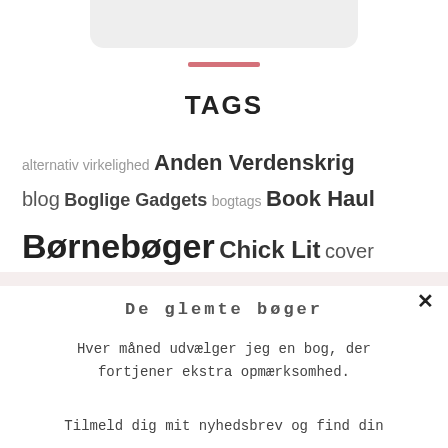[Figure (other): Partial rounded card/image at top of page, clipped at top edge]
TAGS
alternativ virkelighed Anden Verdenskrig blog Boglige Gadgets bogtags Book Haul Børnebøger Chick Lit cover
De glemte bøger
Hver måned udvælger jeg en bog, der fortjener ekstra opmærksomhed.
Tilmeld dig mit nyhedsbrev og find din